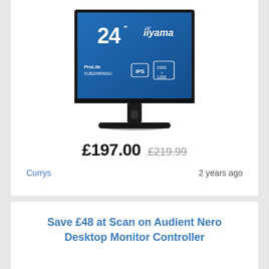[Figure (photo): iiyama ProLite XUB2495WSU 24-inch IPS monitor with stand, showing blue screen with model specs: 1920x1200 resolution, IPS panel.]
£197.00 £219.99
Currys
2 years ago
Save £48 at Scan on Audient Nero Desktop Monitor Controller